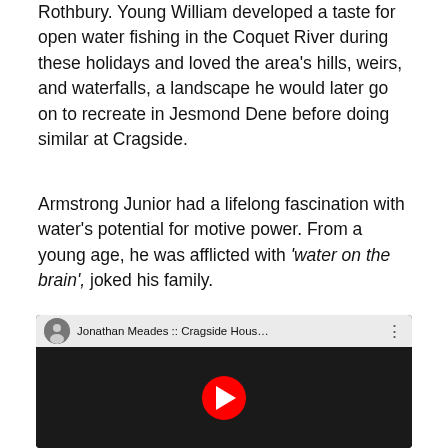Rothbury. Young William developed a taste for open water fishing in the Coquet River during these holidays and loved the area's hills, weirs, and waterfalls, a landscape he would later go on to recreate in Jesmond Dene before doing similar at Cragside.
Armstrong Junior had a lifelong fascination with water's potential for motive power. From a young age, he was afflicted with 'water on the brain', joked his family.
[Figure (screenshot): YouTube video embed showing 'Jonathan Meades :: Cragside Hous...' with a man wearing dark sunglasses in the thumbnail. Red play button in the center.]